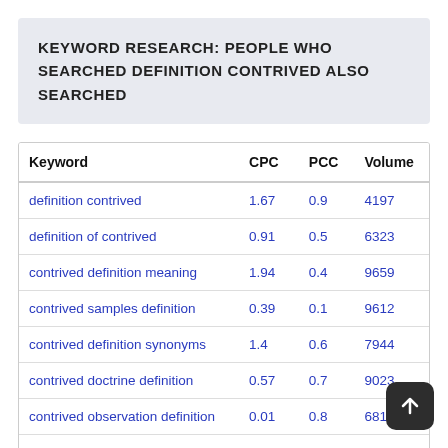KEYWORD RESEARCH: PEOPLE WHO SEARCHED DEFINITION CONTRIVED ALSO SEARCHED
| Keyword | CPC | PCC | Volume |
| --- | --- | --- | --- |
| definition contrived | 1.67 | 0.9 | 4197 |
| definition of contrived | 0.91 | 0.5 | 6323 |
| contrived definition meaning | 1.94 | 0.4 | 9659 |
| contrived samples definition | 0.39 | 0.1 | 9612 |
| contrived definition synonyms | 1.4 | 0.6 | 7944 |
| contrived doctrine definition | 0.57 | 0.7 | 9023 |
| contrived observation definition | 0.01 | 0.8 | 681 |
| contrived definition in a sentence | 0.87 | 0.8 | 1320 |